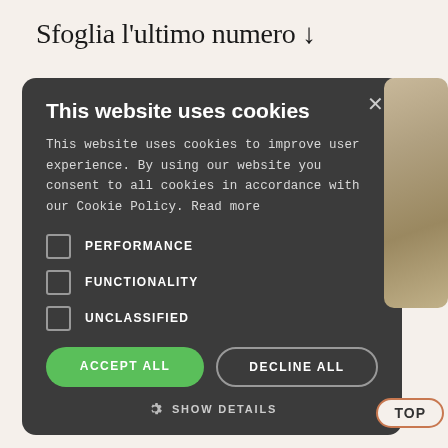Sfoglia l'ultimo numero ↓
[Figure (screenshot): Cookie consent modal dialog on dark background. Contains title 'This website uses cookies', descriptive text, three checkboxes (PERFORMANCE, FUNCTIONALITY, UNCLASSIFIED), ACCEPT ALL and DECLINE ALL buttons, and a SHOW DETAILS option with gear icon. A partial photo is visible to the right of the modal. A 'TOP' button with orange oval border appears in the bottom right corner.]